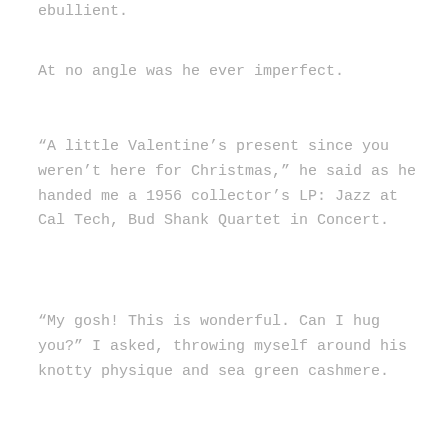ebullient.
At no angle was he ever imperfect.
“A little Valentine’s present since you weren’t here for Christmas,” he said as he handed me a 1956 collector’s LP: Jazz at Cal Tech, Bud Shank Quartet in Concert.
“My gosh! This is wonderful. Can I hug you?” I asked, throwing myself around his knotty physique and sea green cashmere.